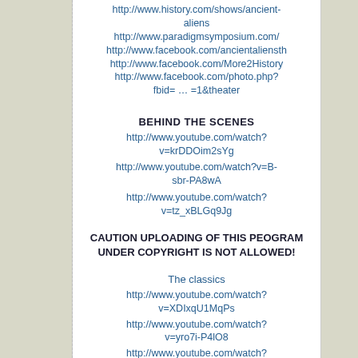http://www.history.com/shows/ancient-aliens
http://www.paradigmsymposium.com/
http://www.facebook.com/ancientaliensh
http://www.facebook.com/More2History
http://www.facebook.com/photo.php?fbid= … =1&theater
BEHIND THE SCENES
http://www.youtube.com/watch?v=krDDOim2sYg
http://www.youtube.com/watch?v=B-sbr-PA8wA
http://www.youtube.com/watch?v=tz_xBLGq9Jg
CAUTION UPLOADING OF THIS PEOGRAM UNDER COPYRIGHT IS NOT ALLOWED!
The classics
http://www.youtube.com/watch?v=XDIxqU1MqPs
http://www.youtube.com/watch?v=yro7i-P4lO8
http://www.youtube.com/watch?v=WSvO-In_or0
http://www.youtube.com/watch?v=MDHp5Bdqh0c
http://www.youtube.com/watch?